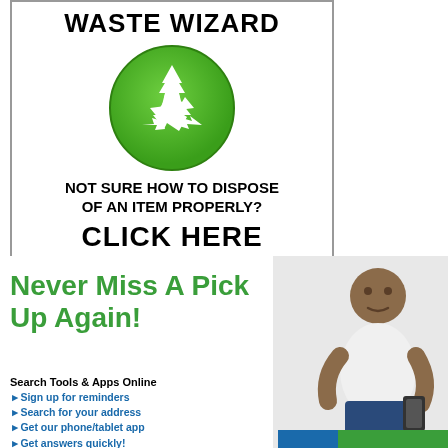WASTE WIZARD
[Figure (illustration): Green circular button with white recycling arrows icon]
NOT SURE HOW TO DISPOSE OF AN ITEM PROPERLY?
CLICK HERE
Never Miss A Pick Up Again!
[Figure (photo): Man in white t-shirt looking at phone]
Search Tools & Apps Online
Sign up for reminders
Search for your address
Get our phone/tablet app
Get answers quickly!